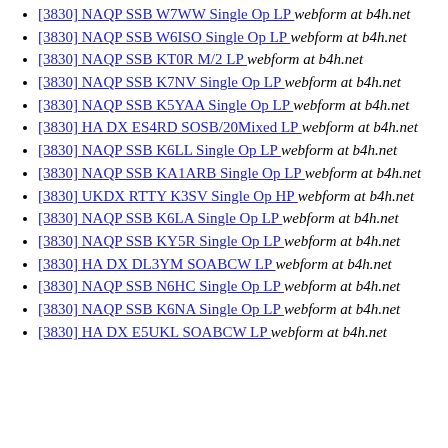[3830] NAQP SSB W7WW Single Op LP  webform at b4h.net
[3830] NAQP SSB W6ISO Single Op LP  webform at b4h.net
[3830] NAQP SSB KT0R M/2 LP  webform at b4h.net
[3830] NAQP SSB K7NV Single Op LP  webform at b4h.net
[3830] NAQP SSB K5YAA Single Op LP  webform at b4h.net
[3830] HA DX ES4RD SOSB/20Mixed LP  webform at b4h.net
[3830] NAQP SSB K6LL Single Op LP  webform at b4h.net
[3830] NAQP SSB KA1ARB Single Op LP  webform at b4h.net
[3830] UKDX RTTY K3SV Single Op HP  webform at b4h.net
[3830] NAQP SSB K6LA Single Op LP  webform at b4h.net
[3830] NAQP SSB KY5R Single Op LP  webform at b4h.net
[3830] HA DX DL3YM SOABCW LP  webform at b4h.net
[3830] NAQP SSB N6HC Single Op LP  webform at b4h.net
[3830] NAQP SSB K6NA Single Op LP  webform at b4h.net
[3830] HA DX E5UKL SOABCW LP  webform at b4h.net